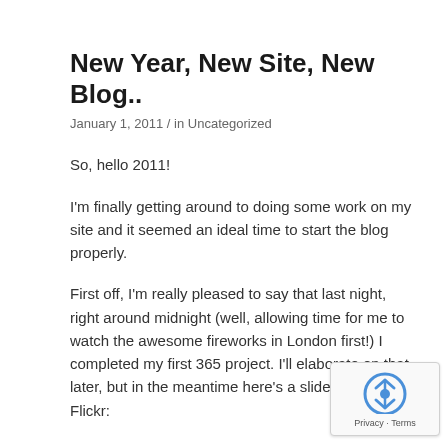New Year, New Site, New Blog..
January 1, 2011 / in Uncategorized
So, hello 2011!
I'm finally getting around to doing some work on my site and it seemed an ideal time to start the blog properly.
First off, I'm really pleased to say that last night, right around midnight (well, allowing time for me to watch the awesome fireworks in London first!) I completed my first 365 project. I'll elaborate on that later, but in the meantime here's a slideshow from Flickr:
[Figure (logo): reCAPTCHA badge with Privacy and Terms links]